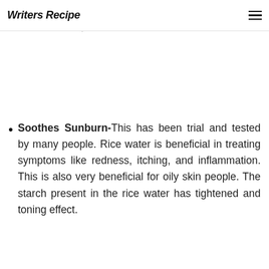Writers Recipe
and be beneficial for people having Eczema, Inflammation, and Atopic Dermatitis.
Soothes Sunburn- This has been trial and tested by many people. Rice water is beneficial in treating symptoms like redness, itching, and inflammation. This is also very beneficial for oily skin people. The starch present in the rice water has tightened and toning effect.